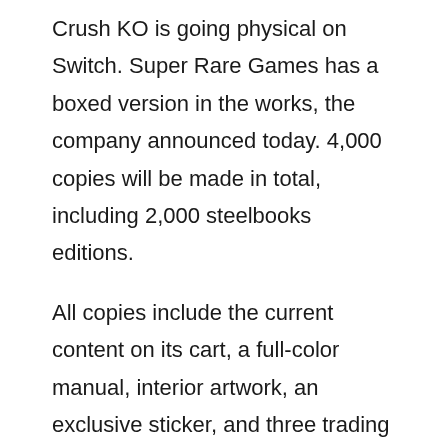Crush KO is going physical on Switch. Super Rare Games has a boxed version in the works, the company announced today. 4,000 copies will be made in total, including 2,000 steelbooks editions.
All copies include the current content on its cart, a full-color manual, interior artwork, an exclusive sticker, and three trading cards randomly selected from the five-card set. Each unit also contains a special sticker sheet.
Pre-orders begin on July 22 at 10 AM PT / 1 PM ET / 6 PM in the UK / 7 PM in Europe. Super Rare Games will have the physical release for Super Crush KO here.
Source: Super Rare Games PR